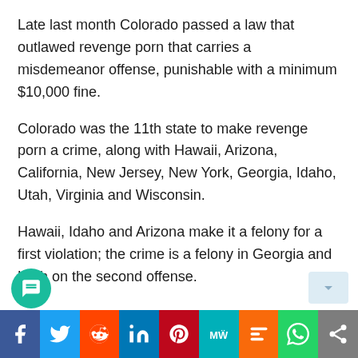Late last month Colorado passed a law that outlawed revenge porn that carries a misdemeanor offense, punishable with a minimum $10,000 fine.
Colorado was the 11th state to make revenge porn a crime, along with Hawaii, Arizona, California, New Jersey, New York, Georgia, Idaho, Utah, Virginia and Wisconsin.
Hawaii, Idaho and Arizona make it a felony for a first violation; the crime is a felony in Georgia and Utah on the second offense.
Social share bar: Facebook, Twitter, Reddit, LinkedIn, Pinterest, MeWe, Mix, WhatsApp, Share